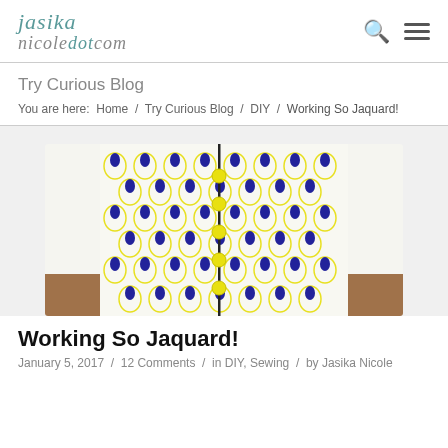jasika nicoledotcom
Try Curious Blog
You are here:  Home  /  Try Curious Blog  /  DIY  /  Working So Jaquard!
[Figure (photo): Close-up photo of a yellow and white fabric with a teardrop/circle pattern in navy blue and yellow, with yellow buttons visible along a seam/placket.]
Working So Jaquard!
January 5, 2017  /  12 Comments  /  in DIY, Sewing  /  by Jasika Nicole